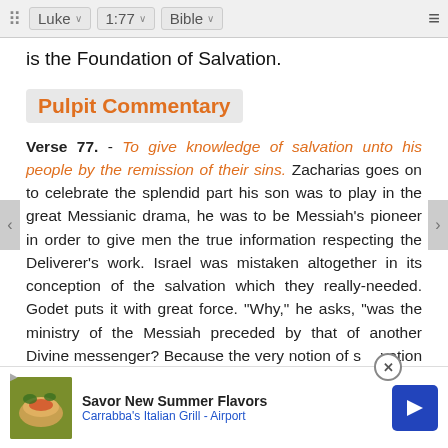Luke | 1:77 | Bible
is the Foundation of Salvation.
Pulpit Commentary
Verse 77. - To give knowledge of salvation unto his people by the remission of their sins. Zacharias goes on to celebrate the splendid part his son was to play in the great Messianic drama, he was to be Messiah's pioneer in order to give men the true information respecting the Deliverer's work. Israel was mistaken altogether in its conception of the salvation which they really-needed. Godet puts it with great force. "Why," he asks, "was the ministry of the Messiah preceded by that of another Divine messenger? Because the very notion of salvation was [corrected] before... and
[Figure (screenshot): Advertisement overlay: Savor New Summer Flavors - Carrabba's Italian Grill - Airport, with food image and navigation arrow button]